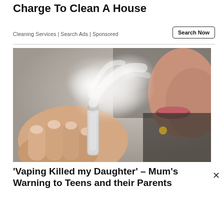Charge To Clean A House
Cleaning Services | Search Ads | Sponsored
Search Now
[Figure (photo): Close-up photo of a person holding a vape device and exhaling vapor/smoke]
'Vaping Killed my Daughter' – Mum's Warning to Teens and their Parents